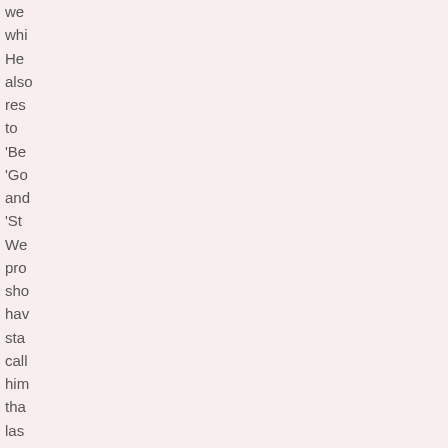we whi He also res to 'Be 'Go and 'St We pro sho hav sta call him tha las one
[Figure (photo): Partial view of a photo showing what appears to be a structure or building element, cropped at the left edge of the page.]